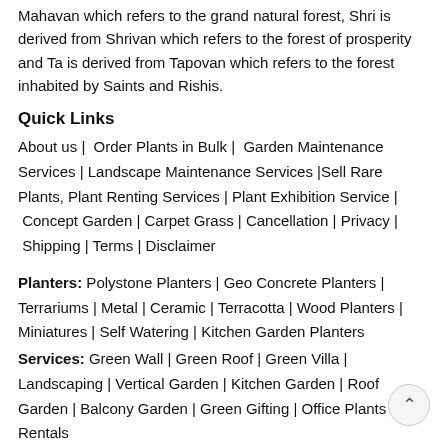Mahavan which refers to the grand natural forest, Shri is derived from Shrivan which refers to the forest of prosperity and Ta is derived from Tapovan which refers to the forest inhabited by Saints and Rishis.
Quick Links
About us | Order Plants in Bulk | Garden Maintenance Services | Landscape Maintenance Services |Sell Rare Plants, Plant Renting Services | Plant Exhibition Service | Concept Garden | Carpet Grass | Cancellation | Privacy | Shipping | Terms | Disclaimer
Planters: Polystone Planters | Geo Concrete Planters | Terrariums | Metal | Ceramic | Terracotta | Wood Planters | Miniatures | Self Watering | Kitchen Garden Planters
Services: Green Wall | Green Roof | Green Villa | Landscaping | Vertical Garden | Kitchen Garden | Roof Garden | Balcony Garden | Green Gifting | Office Plants Rentals
Fragrant Flowers: Scented Rose | Tuberose | Jasmine | Plumeria | Parijat (Harsingar) | Raat Ki Raani | Mogra | Grdenia (Ananta...
Perennials Flowers: Helconia | Bird Of Paradise | Bougainvillea | Hibiscus | Ixora | Adenium | Euphorbia | Bromeliads | Lilies Plant